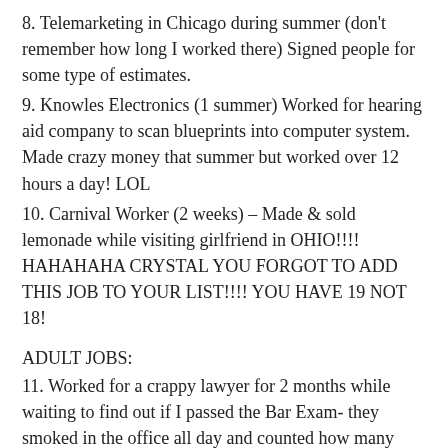8. Telemarketing in Chicago during summer (don't remember how long I worked there) Signed people for some type of estimates.
9. Knowles Electronics (1 summer) Worked for hearing aid company to scan blueprints into computer system. Made crazy money that summer but worked over 12 hours a day! LOL
10. Carnival Worker (2 weeks) – Made & sold lemonade while visiting girlfriend in OHIO!!!! HAHAHAHA CRYSTAL YOU FORGOT TO ADD THIS JOB TO YOUR LIST!!!! YOU HAVE 19 NOT 18!
ADULT JOBS:
11. Worked for a crappy lawyer for 2 months while waiting to find out if I passed the Bar Exam- they smoked in the office all day and counted how many times I used the restrooms. I left because it was just not worth the mental abuse!
12. Noodles Restaurant (8 months) – Worked at...